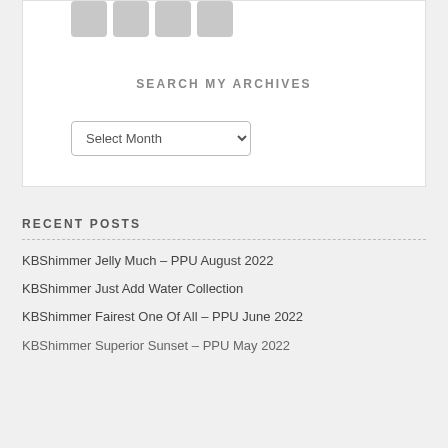[Figure (other): Four social media icon buttons (Facebook, Instagram, Pinterest, Twitter) shown as grey rounded square icons]
SEARCH MY ARCHIVES
[Figure (other): A dropdown select box labeled 'Select Month']
RECENT POSTS
KBShimmer Jelly Much – PPU August 2022
KBShimmer Just Add Water Collection
KBShimmer Fairest One Of All – PPU June 2022
KBShimmer Superior Sunset – PPU May 2022